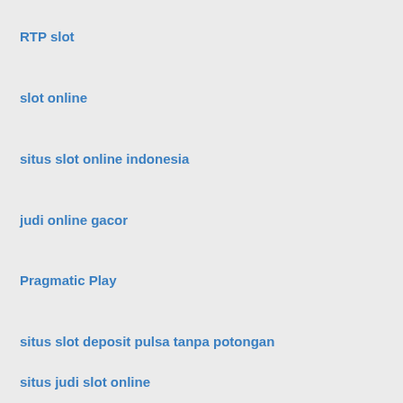RTP slot
slot online
situs slot online indonesia
judi online gacor
Pragmatic Play
situs slot deposit pulsa tanpa potongan
situs judi slot online